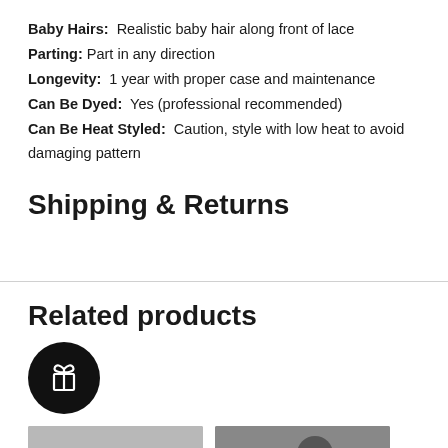Baby Hairs: Realistic baby hair along front of lace
Parting: Part in any direction
Longevity: 1 year with proper case and maintenance
Can Be Dyed: Yes (professional recommended)
Can Be Heat Styled: Caution, style with low heat to avoid damaging pattern
Shipping & Returns
Related products
[Figure (illustration): Black circular icon with a gift box symbol (bow and box outline) in white]